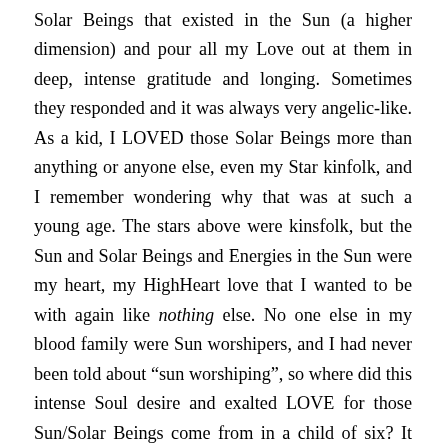Solar Beings that existed in the Sun (a higher dimension) and pour all my Love out at them in deep, intense gratitude and longing. Sometimes they responded and it was always very angelic-like. As a kid, I LOVED those Solar Beings more than anything or anyone else, even my Star kinfolk, and I remember wondering why that was at such a young age. The stars above were kinsfolk, but the Sun and Solar Beings and Energies in the Sun were my heart, my HighHeart love that I wanted to be with again like nothing else. No one else in my blood family were Sun worshipers, and I had never been told about “sun worshiping”, so where did this intense Soul desire and exalted LOVE for those Sun/Solar Beings come from in a child of six? It came from Higher Awareness, past life memories, and from my being open to multiple higher dimensions and timelines.